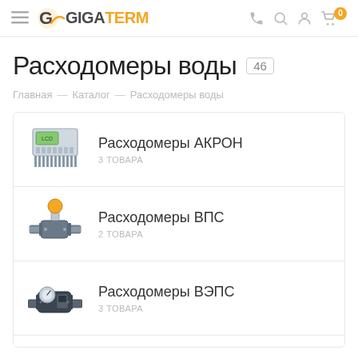GIGATERM — header with logo, hamburger menu, phone, search, account, cart (0)
Расходомеры воды 46
Главная — Каталог — Расходомеры воды
Расходомеры АКРОН
3 ТОВАРА
Расходомеры ВПС
2 ТОВАРА
Расходомеры ВЭПС
3 ТОВАРА